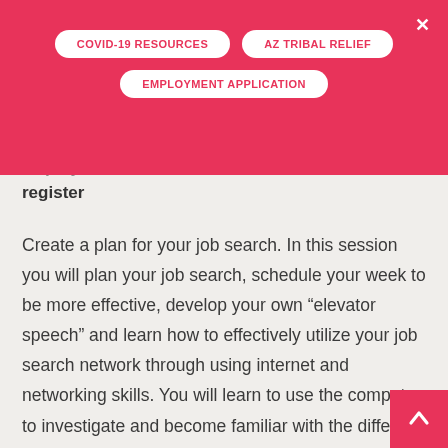COVID-19 RESOURCES | AZ TRIBAL RELIEF | EMPLOYMENT APPLICATION
employers name ... also commence to register
Create a plan for your job search. In this session you will plan your job search, schedule your week to be more effective, develop your own “elevator speech” and learn how to effectively utilize your job search network through using internet and networking skills. You will learn to use the computer to investigate and become familiar with the different types of on-line job boards. In this workshop, you will also discover how to access the “hidden job market”. We’ll show you how to find jobs which are not online